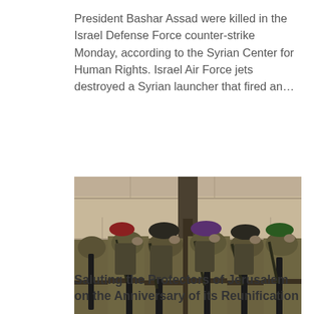President Bashar Assad were killed in the Israel Defense Force counter-strike Monday, according to the Syrian Center for Human Rights. Israel Air Force jets destroyed a Syrian launcher that fired an...
[Figure (photo): Soldiers wearing olive/khaki military uniforms and carrying assault rifles, viewed from behind, standing facing a large stone wall (Western Wall / Wailing Wall in Jerusalem). Several soldiers wear different colored berets.]
Saluting the Protectors of Jerusalem on the Anniversary of its Reunification